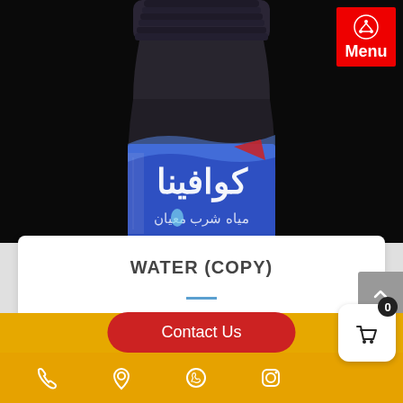[Figure (photo): A large plastic water bottle with an Arabic brand label 'كوافينا' (Koafina) in white text on a blue label, with Arabic text below reading 'مياه شرب معيان'. The bottle is photographed against a dark/black background.]
WATER (COPY)
Contact Us
Navigation bar with phone, location, WhatsApp, and Instagram icons